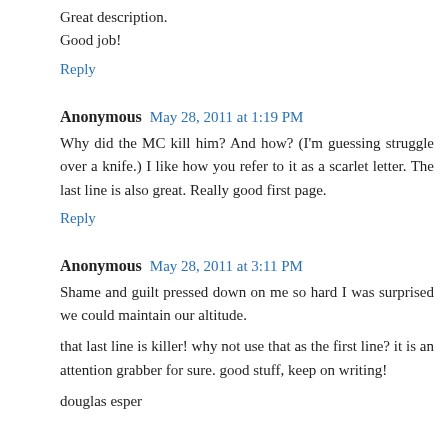Great description.
Good job!
Reply
Anonymous May 28, 2011 at 1:19 PM
Why did the MC kill him? And how? (I'm guessing struggle over a knife.) I like how you refer to it as a scarlet letter. The last line is also great. Really good first page.
Reply
Anonymous May 28, 2011 at 3:11 PM
Shame and guilt pressed down on me so hard I was surprised we could maintain our altitude.
that last line is killer! why not use that as the first line? it is an attention grabber for sure. good stuff, keep on writing!
douglas esper